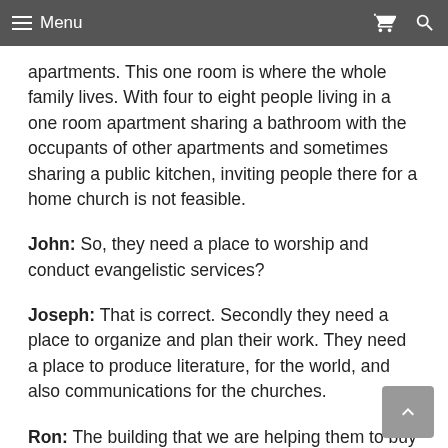Menu
apartments. This one room is where the whole family lives. With four to eight people living in a one room apartment sharing a bathroom with the occupants of other apartments and sometimes sharing a public kitchen, inviting people there for a home church is not feasible.
John: So, they need a place to worship and conduct evangelistic services?
Joseph: That is correct. Secondly they need a place to organize and plan their work. They need a place to produce literature, for the world, and also communications for the churches.
Ron: The building that we are helping them to buy will not only satisfy the need for a place for